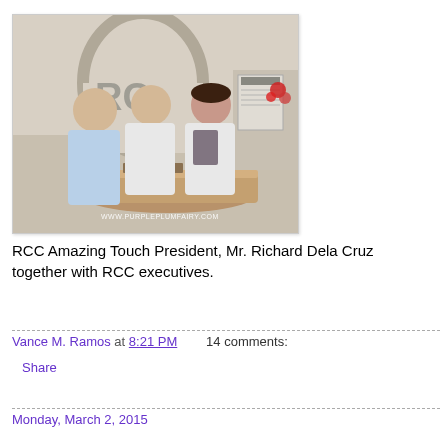[Figure (photo): Three people standing in front of a reception desk with an RCC logo on the wall. Watermark: WWW.PURPLEPLUMFAIRY.COM]
RCC Amazing Touch President, Mr. Richard Dela Cruz together with RCC executives.
Vance M. Ramos at 8:21 PM   14 comments:
Share
Monday, March 2, 2015